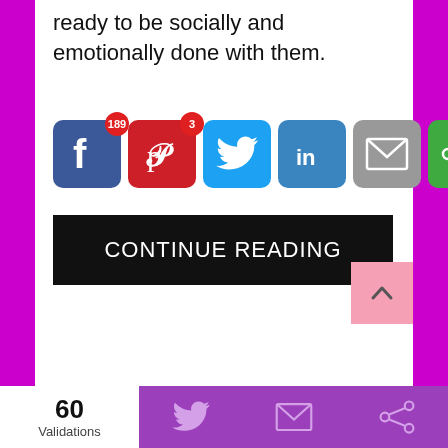ready to be socially and emotionally done with them.
[Figure (screenshot): Social sharing buttons: Facebook (189 shares), Pinterest (3 shares), Twitter, LinkedIn, Email, and a green share button]
[Figure (screenshot): Black CONTINUE READING button]
60 Validations | Twitter icon | Mail icon | Share icon